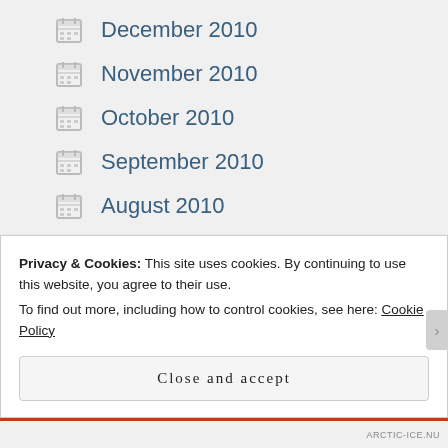December 2010
November 2010
October 2010
September 2010
August 2010
July 2010
June 2010
May 2010
April 2010
Privacy & Cookies: This site uses cookies. By continuing to use this website, you agree to their use.
To find out more, including how to control cookies, see here: Cookie Policy
Close and accept